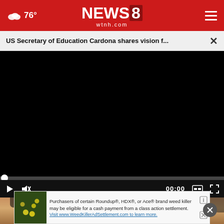76° | NEWS 8 wtnh.com
US Secretary of Education Cardona shares vision f...
[Figure (screenshot): Embedded video player showing a black screen (paused/unloaded) with playback controls bar at bottom. Progress bar at 0:00. Controls include play button, mute button, timestamp 00:00, captions button, and fullscreen button.]
[Figure (photo): Partial photo visible below the video player showing a person smiling, visible from forehead to mouth area against a warm-toned background.]
[Figure (infographic): Advertisement banner: 'Purchasers of certain Roundup®, HDX®, or Ace® brand weed killer may be eligible for a cash payment from a class action settlement. Visit www.WeedKillerAdSettlement.com to learn more.']